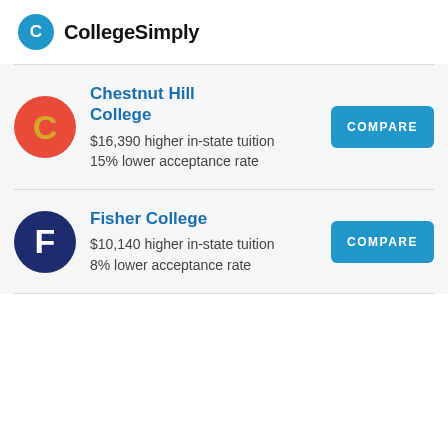CollegeSimply
Chestnut Hill College
$16,390 higher in-state tuition
15% lower acceptance rate
Fisher College
$10,140 higher in-state tuition
8% lower acceptance rate